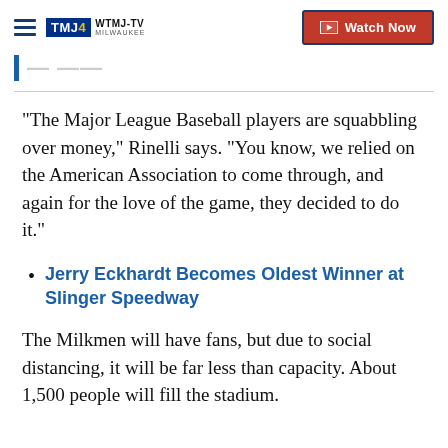WTMJ-TV MILWAUKEE | Watch Now
"The Major League Baseball players are squabbling over money," Rinelli says. "You know, we relied on the American Association to come through, and again for the love of the game, they decided to do it."
Jerry Eckhardt Becomes Oldest Winner at Slinger Speedway
The Milkmen will have fans, but due to social distancing, it will be far less than capacity. About 1,500 people will fill the stadium.